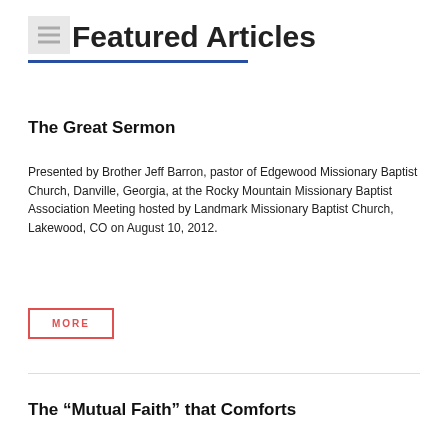Featured Articles
The Great Sermon
Presented by Brother Jeff Barron, pastor of Edgewood Missionary Baptist Church, Danville, Georgia, at the Rocky Mountain Missionary Baptist Association Meeting hosted by Landmark Missionary Baptist Church, Lakewood, CO on August 10, 2012.
MORE
The “Mutual Faith” that Comforts